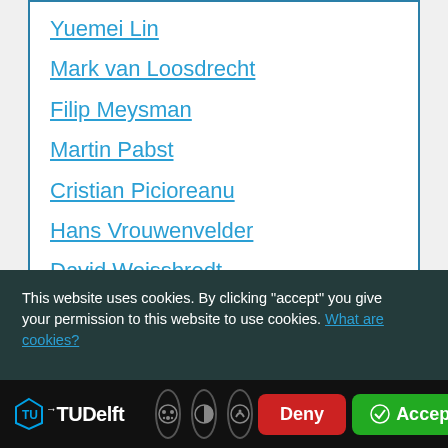Yuemei Lin
Mark van Loosdrecht
Filip Meysman
Martin Pabst
Cristian Picioreanu
Hans Vrouwenvelder
David Weissbrodt
This website uses cookies. By clicking "accept" you give your permission to this website to use cookies. What are cookies?
[Figure (screenshot): TU Delft website cookie consent bar with Deny and Accept buttons, TU Delft logo, and cookie settings icons]